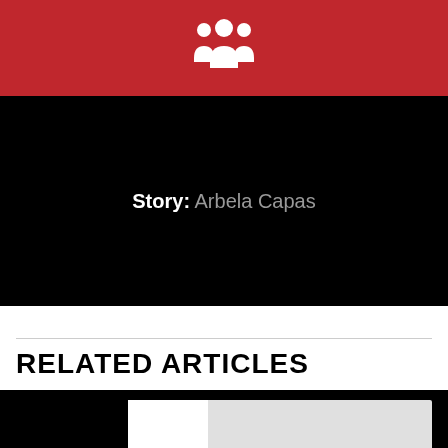[Figure (illustration): White people/group icon on red background]
Story: Arbela Capas
RELATED ARTICLES
[Figure (photo): University building with crest showing partial letters and a bird emblem]